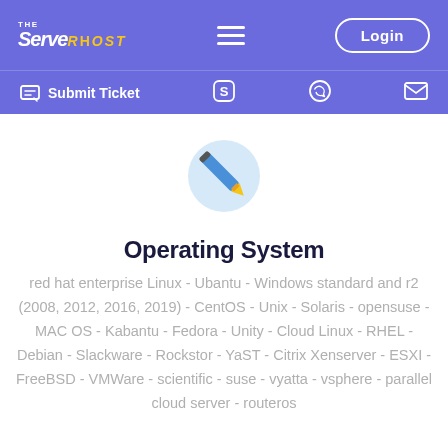THE ServerHost - Login - Submit Ticket
[Figure (illustration): A pencil/gear icon illustration in blue and yellow tones]
Operating System
red hat enterprise Linux - Ubantu - Windows standard and r2 (2008, 2012, 2016, 2019) - CentOS - Unix - Solaris - opensuse - MAC OS - Kabantu - Fedora - Unity - Cloud Linux - RHEL - Debian - Slackware - Rockstor - YaST - Citrix Xenserver - ESXI - FreeBSD - VMWare - scientific - suse - vyatta - vsphere - parallel cloud server - routeros